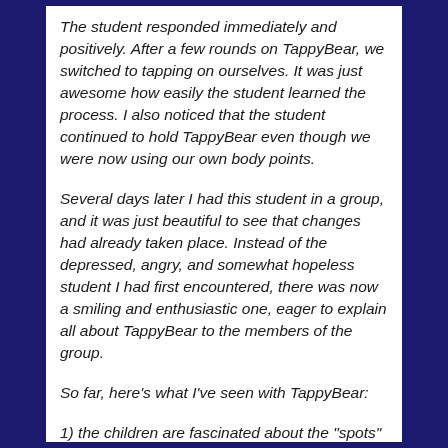The student responded immediately and positively. After a few rounds on TappyBear, we switched to tapping on ourselves. It was just awesome how easily the student learned the process. I also noticed that the student continued to hold TappyBear even though we were now using our own body points.
Several days later I had this student in a group, and it was just beautiful to see that changes had already taken place. Instead of the depressed, angry, and somewhat hopeless student I had first encountered, there was now a smiling and enthusiastic one, eager to explain all about TappyBear to the members of the group.
So far, here's what I've seen with TappyBear:
1) the children are fascinated about the "spots" and want to know what they are for if they don't already